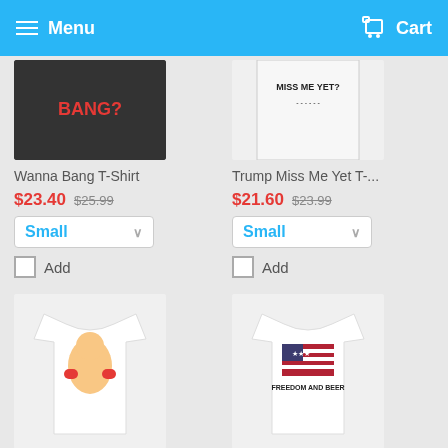Menu  Cart
[Figure (photo): Partial view of a black t-shirt with 'BANG?' text in red]
Wanna Bang T-Shirt
$23.40 $25.99
Small ∨
Add
[Figure (photo): Partial view of a white t-shirt with 'Miss Me Yet?' text]
Trump Miss Me Yet T-...
$21.60 $23.99
Small ∨
Add
[Figure (photo): White t-shirt with image of Trump as fat boxer]
Trump Fat Boxer T-Shirt
$21.60 $23.99
Small ∨
Add
[Figure (photo): White t-shirt with American flag and 'Freedom And Beer' text]
Freedom And Beer T-...
$21.60 $23.99
Small ∨
Add